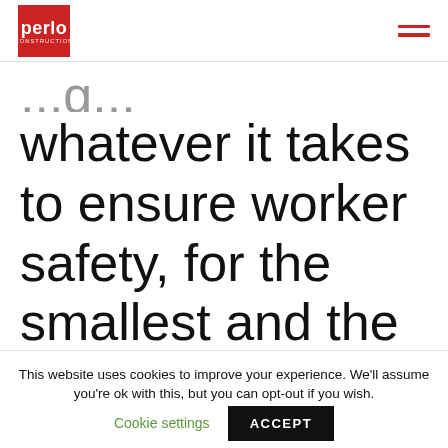perlo CONSTRUCTION
whatever it takes to ensure worker safety, for the smallest and the largest of tasks.
This website uses cookies to improve your experience. We'll assume you're ok with this, but you can opt-out if you wish.
Cookie settings  ACCEPT